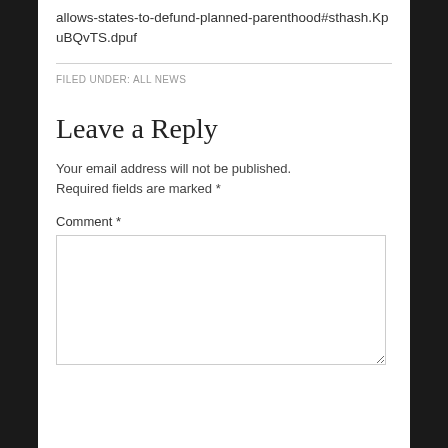allows-states-to-defund-planned-parenthood#sthash.KpuBQvTS.dpuf
FILED UNDER: ALL NEWS
Leave a Reply
Your email address will not be published. Required fields are marked *
Comment *